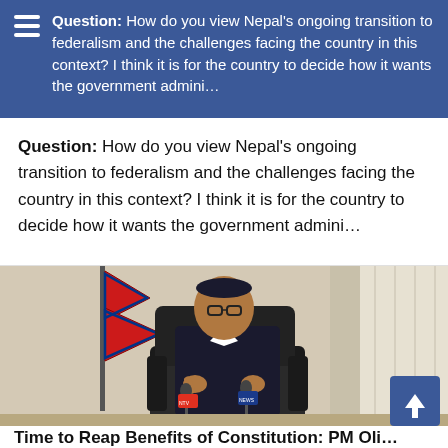Question: How do you view Nepal's ongoing transition to federalism and the challenges facing the country in this context? I think it is for the country to decide how it wants the government admini…
Question: How do you view Nepal's ongoing transition to federalism and the challenges facing the country in this context? I think it is for the country to decide how it wants the government admini…
[Figure (photo): A man in a dark suit and traditional Nepali topi hat sits in a leather chair, gesturing with both hands. A Nepali flag is visible to his left, and microphones with press logos are in front of him. The background shows a curtained room.]
Time to Reap Benefits of Constitution: PM Oli…